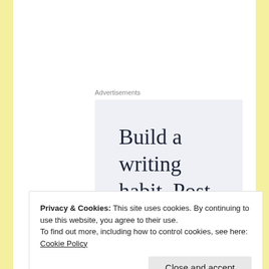Advertisements
[Figure (illustration): Advertisement box with light blue-grey background containing large serif text reading 'Build a writing habit. Post on the go.']
Privacy & Cookies: This site uses cookies. By continuing to use this website, you agree to their use.
To find out more, including how to control cookies, see here: Cookie Policy
Close and accept